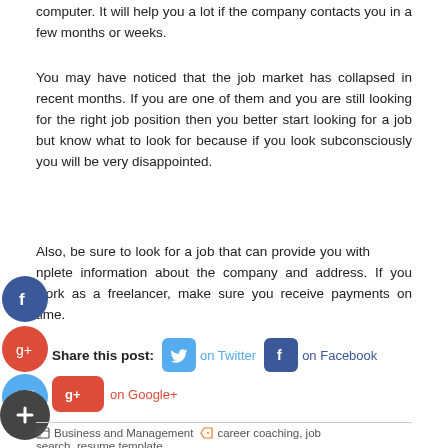computer. It will help you a lot if the company contacts you in a few months or weeks.
You may have noticed that the job market has collapsed in recent months. If you are one of them and you are still looking for the right job position then you better start looking for a job but know what to look for because if you look subconsciously you will be very disappointed.
Also, be sure to look for a job that can provide you with complete information about the company and address. If you work as a freelancer, make sure you receive payments on time.
Share this post:  on Twitter  on Facebook  on Google+
Business and Management    career coaching, job search, resume template